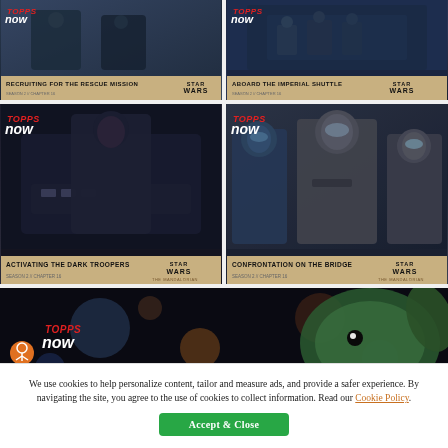[Figure (photo): Star Wars Mandalorian Topps Now trading card: RECRUITING FOR THE RESCUE MISSION - Season 2 Chapter 16]
[Figure (photo): Star Wars Mandalorian Topps Now trading card: ABOARD THE IMPERIAL SHUTTLE - Season 2 Chapter 16]
[Figure (photo): Star Wars Mandalorian Topps Now trading card: ACTIVATING THE DARK TROOPERS - Season 2 Chapter 16]
[Figure (photo): Star Wars Mandalorian Topps Now trading card: CONFRONTATION ON THE BRIDGE - Season 2 Chapter 16]
[Figure (photo): Star Wars Mandalorian Topps Now trading card partially visible - Grogu (Baby Yoda) scene]
We use cookies to help personalize content, tailor and measure ads, and provide a safer experience. By navigating the site, you agree to the use of cookies to collect information. Read our Cookie Policy.
Accept & Close